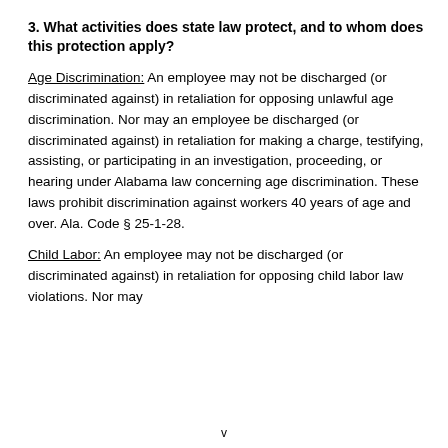3. What activities does state law protect, and to whom does this protection apply?
Age Discrimination: An employee may not be discharged (or discriminated against) in retaliation for opposing unlawful age discrimination. Nor may an employee be discharged (or discriminated against) in retaliation for making a charge, testifying, assisting, or participating in an investigation, proceeding, or hearing under Alabama law concerning age discrimination. These laws prohibit discrimination against workers 40 years of age and over. Ala. Code § 25-1-28.
Child Labor: An employee may not be discharged (or discriminated against) in retaliation for opposing child labor law violations. Nor may
v